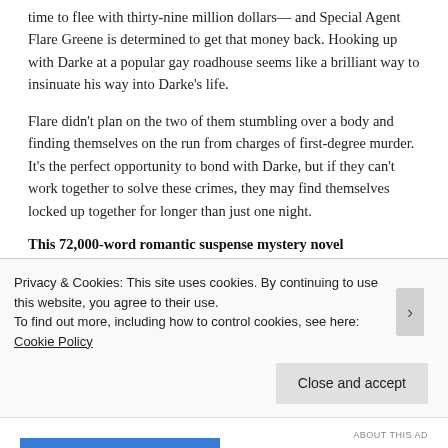time to flee with thirty-nine million dollars— and Special Agent Flare Greene is determined to get that money back. Hooking up with Darke at a popular gay roadhouse seems like a brilliant way to insinuate his way into Darke's life.
Flare didn't plan on the two of them stumbling over a body and finding themselves on the run from charges of first-degree murder. It's the perfect opportunity to bond with Darke, but if they can't work together to solve these crimes, they may find themselves locked up together for longer than just one night.
This 72,000-word romantic suspense mystery novel
Privacy & Cookies: This site uses cookies. By continuing to use this website, you agree to their use.
To find out more, including how to control cookies, see here: Cookie Policy
Close and accept